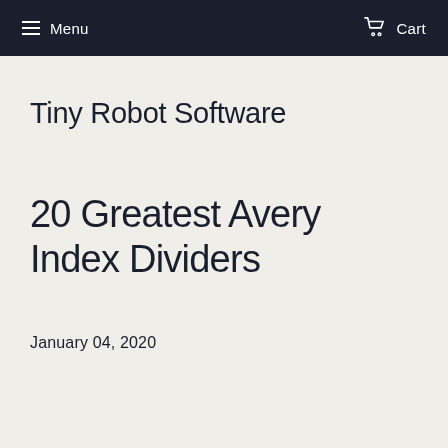Menu   Cart
Tiny Robot Software
20 Greatest Avery Index Dividers
January 04, 2020